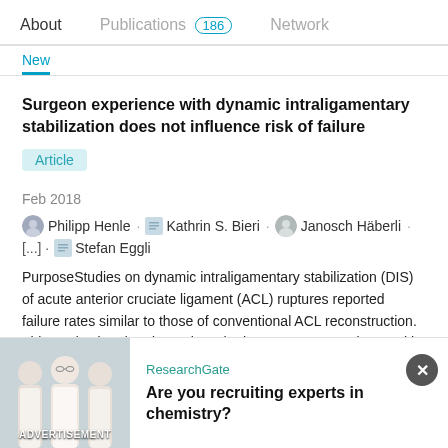About  Publications 186  Network
Surgeon experience with dynamic intraligamentary stabilization does not influence risk of failure
Article
Feb 2018
Philipp Henle · Kathrin S. Bieri · Janosch Häberli · [...] · Stefan Eggli
PurposeStudies on dynamic intraligamentary stabilization (DIS) of acute anterior cruciate ligament (ACL) ruptures reported failure rates similar to those of conventional ACL reconstruction. This study aimed to determine whether surgeon experience with DIS is associated with revision rates or patient-reported
ResearchGate
Are you recruiting experts in chemistry?